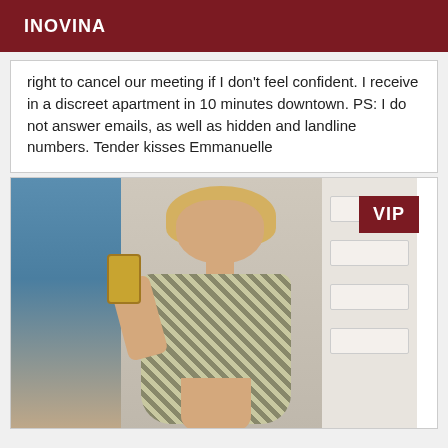INOVINA
right to cancel our meeting if I don't feel confident. I receive in a discreet apartment in 10 minutes downtown. PS: I do not answer emails, as well as hidden and landline numbers. Tender kisses Emmanuelle
[Figure (photo): Mirror selfie of a blonde woman in a patterned wrap dress, with a VIP badge in the top right corner]